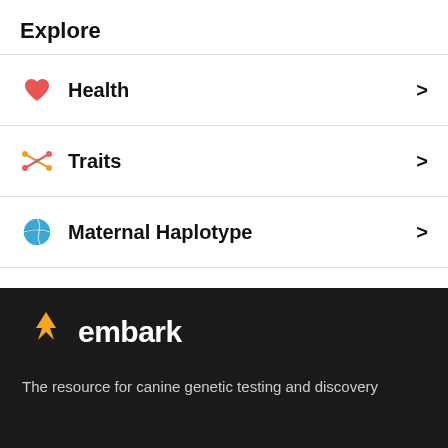Explore
Health
Traits
Maternal Haplotype
Paternal Haplotype
[Figure (logo): Embark logo with yellow stylized dog icon and 'embark' wordmark in white on dark background]
The resource for canine genetic testing and discovery